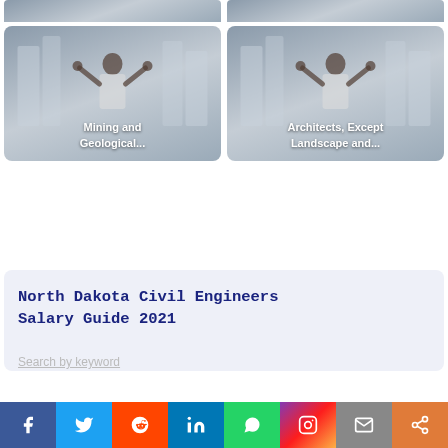[Figure (photo): Two image cards at top (partially visible): person with arms raised in front of city buildings, grayscale background. Left card top half, right card top half.]
[Figure (photo): Left card: person with arms raised, city background, label 'Mining and Geological...']
[Figure (photo): Right card: person with arms raised, city background, label 'Architects, Except Landscape and...']
North Dakota Civil Engineers Salary Guide 2021
Search by keyword
Social share bar: Facebook, Twitter, Reddit, LinkedIn, WhatsApp, Instagram, Mail, Share